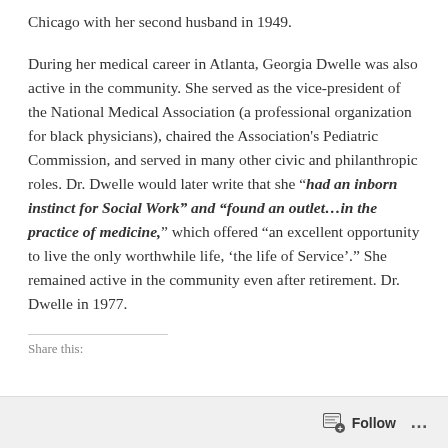Chicago with her second husband in 1949.
During her medical career in Atlanta, Georgia Dwelle was also active in the community. She served as the vice-president of the National Medical Association (a professional organization for black physicians), chaired the Association’s Pediatric Commission, and served in many other civic and philanthropic roles. Dr. Dwelle would later write that she “had an inborn instinct for Social Work” and “found an outlet…in the practice of medicine,” which offered “an excellent opportunity to live the only worthwhile life, ‘the life of Service’.” She remained active in the community even after retirement. Dr. Dwelle in 1977.
Share this:
Follow ...